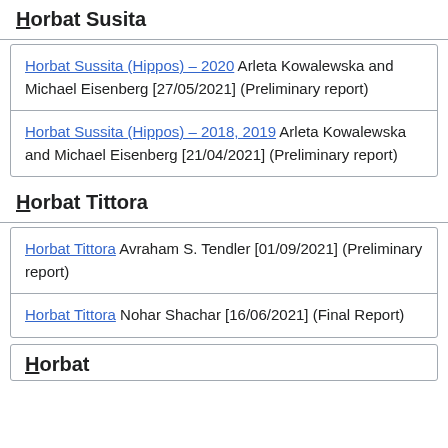Horbat Susita
Horbat Sussita (Hippos) – 2020 Arleta Kowalewska and Michael Eisenberg [27/05/2021] (Preliminary report)
Horbat Sussita (Hippos) – 2018, 2019 Arleta Kowalewska and Michael Eisenberg [21/04/2021] (Preliminary report)
Horbat Tittora
Horbat Tittora Avraham S. Tendler [01/09/2021] (Preliminary report)
Horbat Tittora Nohar Shachar [16/06/2021] (Final Report)
Horbat Usha